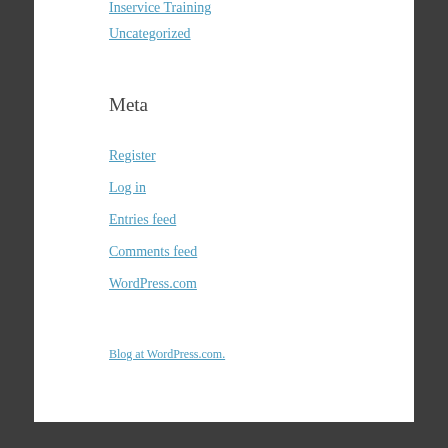Inservice Training
Uncategorized
Meta
Register
Log in
Entries feed
Comments feed
WordPress.com
Blog at WordPress.com.